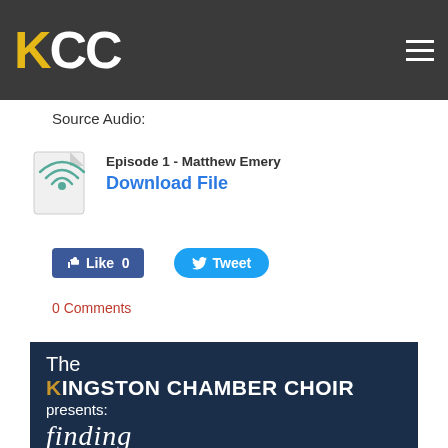KCC
Source Audio:
Episode 1 - Matthew Emery
Download File
[Figure (screenshot): Social media buttons: Facebook Like (0) and Twitter Tweet buttons]
0 Comments
[Figure (illustration): Kingston Chamber Choir concert banner on dark navy background showing 'The KINGSTON CHAMBER CHOIR presents: finding']